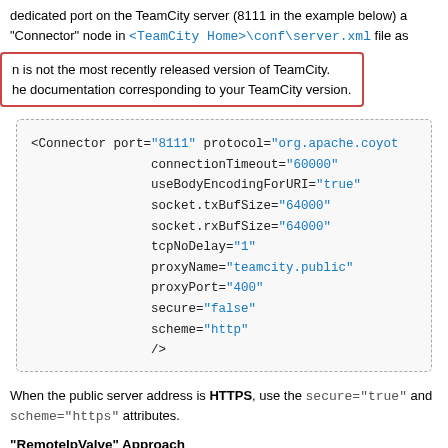dedicated port on the TeamCity server (8111 in the example below) a "Connector" node in <TeamCity Home>\conf\server.xml file as a th
n is not the most recently released version of TeamCity. he documentation corresponding to your TeamCity version. y, u
<Connector port="8111" protocol="org.apache.coyot connectionTimeout="60000" useBodyEncodingForURI="true" socket.txBufSize="64000" socket.rxBufSize="64000" tcpNoDelay="1" proxyName="teamcity.public" proxyPort="400" secure="false" scheme="http" />
When the public server address is HTTPS, use the secure="true" and scheme="https" attributes.
"RemoteIpValve" Approach